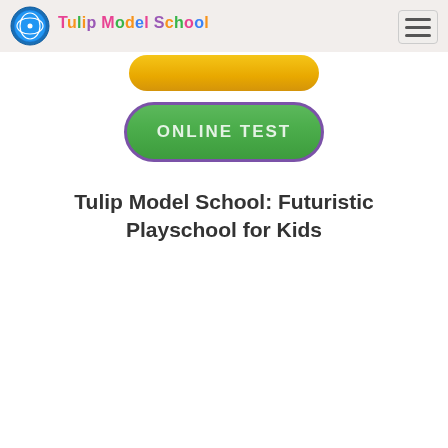Tulip Model School
[Figure (other): Yellow rounded button partially visible at the top of the content area]
[Figure (other): Green rounded button labeled ONLINE TEST with purple border]
Tulip Model School: Futuristic Playschool for Kids